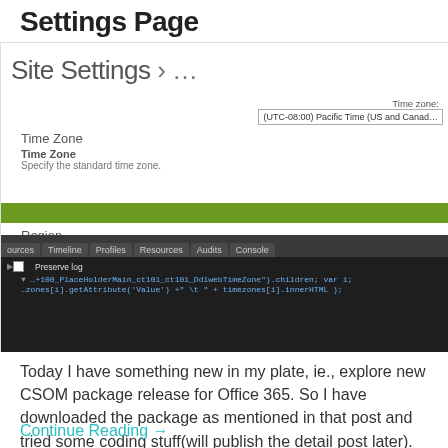Settings Page
[Figure (screenshot): Screenshot of SharePoint Site Settings page showing Time Zone and Region sections, with a browser developer tools console panel overlay showing JavaScript code related to timezone selection: '...+100_PlaceHolderMain_ct101_ct101_DdlwebTimeZone").children; var i;' and 'zones[i].getAttribute(\'Value\') + " \t " + timezones[i].innerHTML );']
Today I have something new in my plate, ie., explore new CSOM package release for Office 365. So I have downloaded the package as mentioned in that post and tried some coding stuff(will publish the detail post later). From the...
Continue Reading →